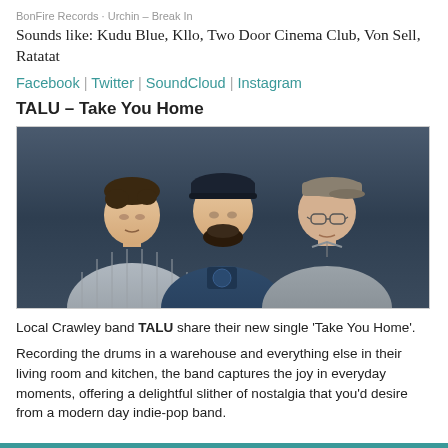BonFire Records · Urchin – Break In
Sounds like: Kudu Blue, Kllo, Two Door Cinema Club, Von Sell, Ratatat
Facebook | Twitter | SoundCloud | Instagram
TALU – Take You Home
[Figure (photo): Three young men standing in front of a dark blue-grey background. The man on the left wears a grey ribbed sweater, the man in the center wears a dark blue t-shirt and a dark cap, and the man on the right wears a grey polo shirt and a flat cap with glasses.]
Local Crawley band TALU share their new single 'Take You Home'.
Recording the drums in a warehouse and everything else in their living room and kitchen, the band captures the joy in everyday moments, offering a delightful slither of nostalgia that you'd desire from a modern day indie-pop band.